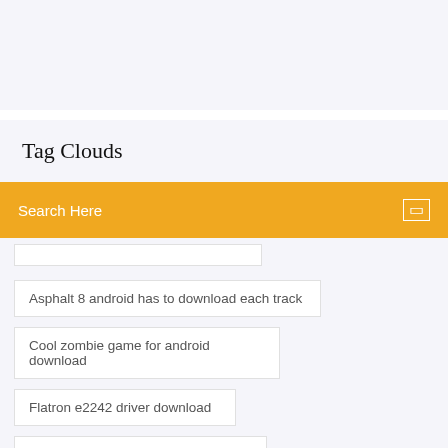Tag Clouds
Search Here
Asphalt 8 android has to download each track
Cool zombie game for android download
Flatron e2242 driver download
How to find torrent files to download
Youtube to mp4 video converter download
Download farming simulator 17 mods pc